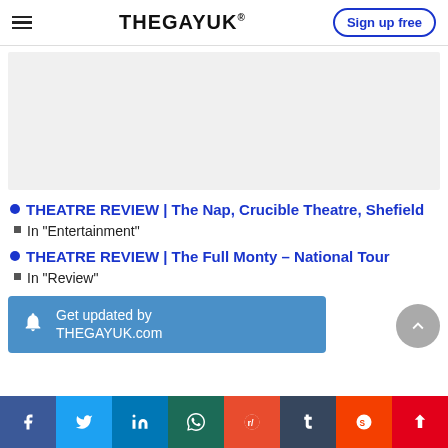THEGAYUK® | Sign up free
[Figure (other): Grey advertisement placeholder area]
THEATRE REVIEW | The Nap, Crucible Theatre, Shefield
In "Entertainment"
THEATRE REVIEW | The Full Monty – National Tour
In "Review"
[Figure (infographic): Blue notification subscription bar: bell icon and text 'Get updated by THEGAYUK.com']
Social share bar: Facebook, Twitter, LinkedIn, WhatsApp, Reddit, Tumblr, StumbleUpon, Flipboard